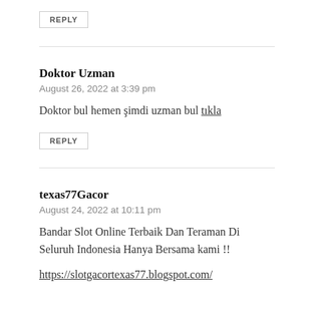REPLY
Doktor Uzman
August 26, 2022 at 3:39 pm
Doktor bul hemen şimdi uzman bul tıkla
REPLY
texas77Gacor
August 24, 2022 at 10:11 pm
Bandar Slot Online Terbaik Dan Teraman Di Seluruh Indonesia Hanya Bersama kami !!
https://slotgacortexas77.blogspot.com/